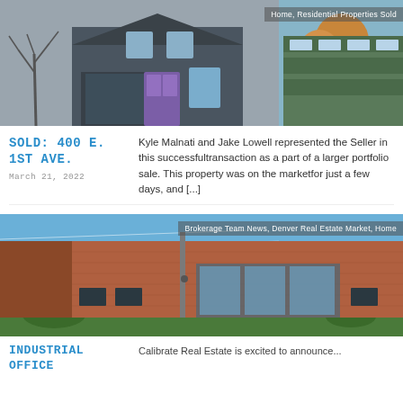[Figure (photo): Exterior photo of a Victorian-style house with purple door and bare trees; second image shows a green multi-story apartment building with autumn trees. Tag bar reads: Home, Residential Properties Sold]
SOLD: 400 E. 1ST AVE.
March 21, 2022
Kyle Malnati and Jake Lowell represented the Seller in this successfultransaction as a part of a larger portfolio sale. This property was on the marketfor just a few days, and [...]
[Figure (photo): Exterior photo of a brick industrial/office building under a blue sky. Tag bar reads: Brokerage Team News, Denver Real Estate Market, Home]
INDUSTRIAL OFFICE
Calibrate Real Estate is excited to announce...